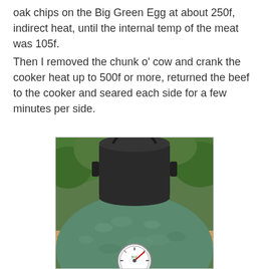oak chips on the Big Green Egg at about 250f, indirect heat, until the internal temp of the meat was 105f.
Then I removed the chunk o' cow and crank the cooker heat up to 500f or more, returned the beef to the cooker and seared each side for a few minutes per side.
[Figure (photo): Close-up photo of a Big Green Egg ceramic grill showing a cast iron dutch oven on top of the green ceramic dome, with a thermometer gauge visible at the bottom of the frame showing a high temperature reading, surrounded by green foliage in the background.]